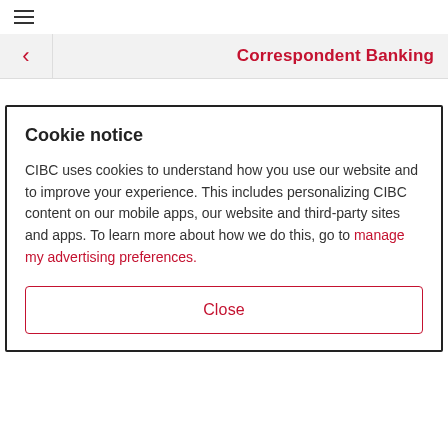≡
Correspondent Banking
Cookie notice
CIBC uses cookies to understand how you use our website and to improve your experience. This includes personalizing CIBC content on our mobile apps, our website and third-party sites and apps. To learn more about how we do this, go to manage my advertising preferences.
Close